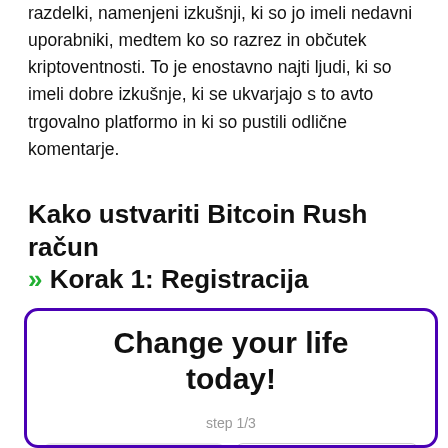razdelki, namenjeni izkušnji, ki so jo imeli nedavni uporabniki, medtem ko so razrez in občutek kriptoventnosti. To je enostavno najti ljudi, ki so imeli dobre izkušnje, ki se ukvarjajo s to avto trgovalno platformo in ki so pustili odlične komentarje.
Kako ustvariti Bitcoin Rush račun » Korak 1: Registracija
[Figure (screenshot): Registration form widget with purple border, title 'Change your life today!', step 1/3 indicator, and two input fields labeled 'First name' and 'First Name'.]